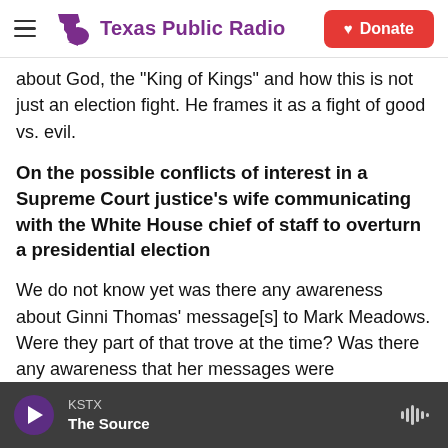Texas Public Radio | Donate
about God, the "King of Kings" and how this is not just an election fight. He frames it as a fight of good vs. evil.
On the possible conflicts of interest in a Supreme Court justice's wife communicating with the White House chief of staff to overturn a presidential election
We do not know yet was there any awareness about Ginni Thomas' message[s] to Mark Meadows. Were they part of that trove at the time? Was there any awareness that her messages were
KSTX | The Source